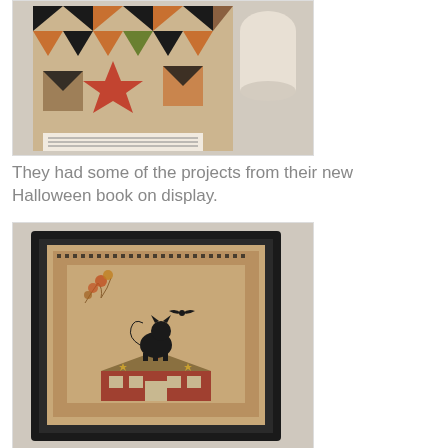[Figure (photo): Halloween quilt with orange, black, and green patchwork triangles and star patterns hanging on display with a label tag at the bottom]
They had some of the projects from their new Halloween book on display.
[Figure (photo): Framed cross-stitch or needlework piece in a black frame showing a black cat silhouette on top of a house with decorative border pattern in Halloween/autumn theme]